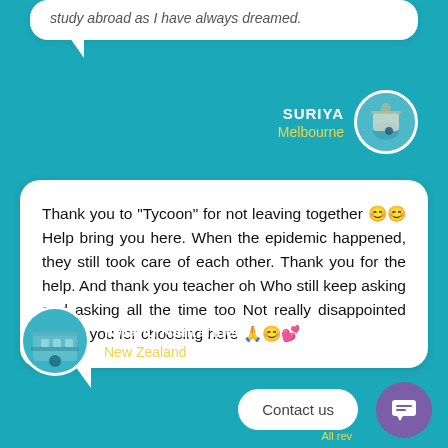study abroad as I have always dreamed.
SURIYA
Melbourne
Thank you to "Tycoon" for not leaving together 😊😊 Help bring you here. When the epidemic happened, they still took care of each other. Thank you for the help. And thank you teacher oh Who still keep asking and asking all the time too Not really disappointed Thank you for choosing here 🙏😊💕
Kwang Nantarinee
New Zealand
Contact us